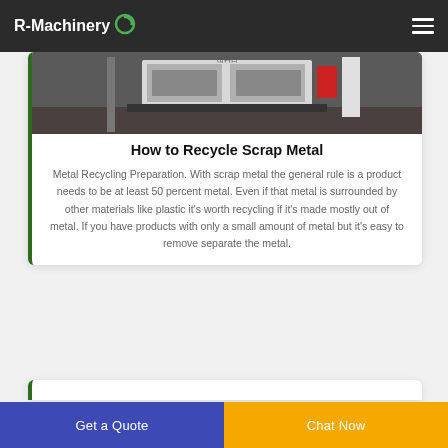R-Machinery
[Figure (photo): Photo of a recycling machine or industrial equipment, viewed from outside, with dark background floor]
How to Recycle Scrap Metal
Metal Recycling Preparation. With scrap metal the general rule is a product needs to be at least 50 percent metal. Even if that metal is surrounded by other materials like plastic it’s worth recycling if it’s made mostly out of metal. If you have products with only a small amount of metal but it’s easy to remove separate the metal.
Get a Quote
Chat Now